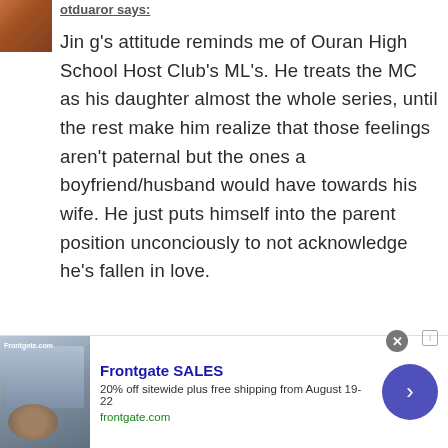[Figure (photo): Small avatar thumbnail showing an autumn/outdoor scene in orange-brown tones]
otduaror says:
Jin g's attitude reminds me of Ouran High School Host Club's ML's. He treats the MC as his daughter almost the whole series, until the rest make him realize that those feelings aren't paternal but the ones a boyfriend/husband would have towards his wife. He just puts himself into the parent position unconciously to not acknowledge he's fallen in love.
Loading...
[Figure (photo): Frontgate advertisement showing outdoor patio furniture with fire pit]
Frontgate SALES
20% off sitewide plus free shipping from August 19-22
frontgate.com